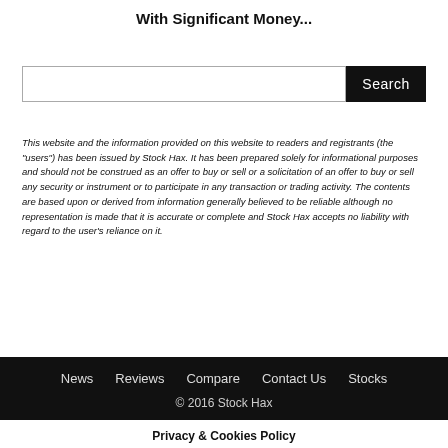With Significant Money...
This website and the information provided on this website to readers and registrants (the "users") has been issued by Stock Hax. It has been prepared solely for informational purposes and should not be construed as an offer to buy or sell or a solicitation of an offer to buy or sell any security or instrument or to participate in any transaction or trading activity. The contents are based upon or derived from information generally believed to be reliable although no representation is made that it is accurate or complete and Stock Hax accepts no liability with regard to the user's reliance on it.
News   Reviews   Compare   Contact Us   Stocks
© 2016 Stock Hax
Privacy & Cookies Policy